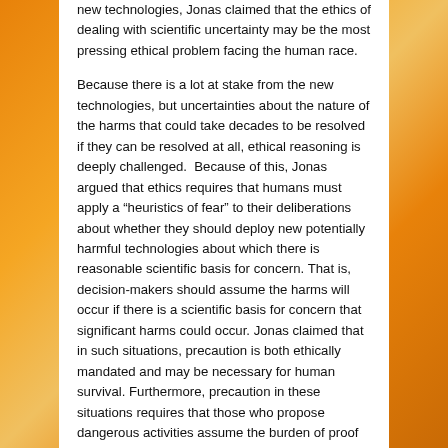new technologies, Jonas claimed that the ethics of dealing with scientific uncertainty may be the most pressing ethical problem facing the human race.
Because there is a lot at stake from the new technologies, but uncertainties about the nature of the harms that could take decades to be resolved if they can be resolved at all, ethical reasoning is deeply challenged.  Because of this, Jonas argued that ethics requires that humans must apply a “heuristics of fear” to their deliberations about whether they should deploy new potentially harmful technologies about which there is reasonable scientific basis for concern. That is, decision-makers should assume the harms will occur if there is a scientific basis for concern that significant harms could occur. Jonas claimed that in such situations, precaution is both ethically mandated and may be necessary for human survival. Furthermore, precaution in these situations requires that those who propose dangerous activities assume the burden of proof to show that the activities are safe. This is especially true for human behaviors that could create catastrophic harms.